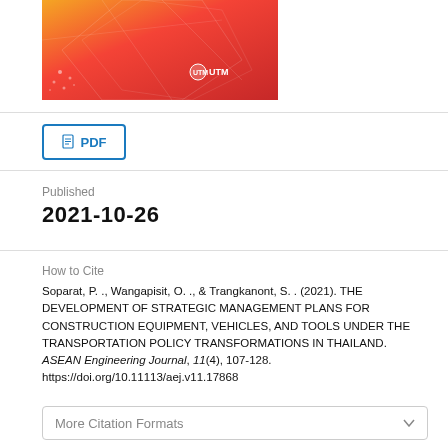[Figure (illustration): Journal cover image with orange-red gradient geometric design and UTM logo]
[Figure (other): PDF download button with document icon]
Published
2021-10-26
How to Cite
Soparat, P. ., Wangapisit, O. ., & Trangkanont, S. . (2021). THE DEVELOPMENT OF STRATEGIC MANAGEMENT PLANS FOR CONSTRUCTION EQUIPMENT, VEHICLES, AND TOOLS UNDER THE TRANSPORTATION POLICY TRANSFORMATIONS IN THAILAND. ASEAN Engineering Journal, 11(4), 107-128. https://doi.org/10.11113/aej.v11.17868
More Citation Formats